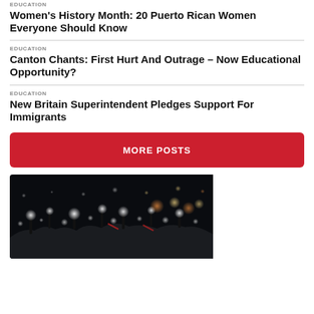EDUCATION
Women's History Month: 20 Puerto Rican Women Everyone Should Know
EDUCATION
Canton Chants: First Hurt And Outrage – Now Educational Opportunity?
EDUCATION
New Britain Superintendent Pledges Support For Immigrants
MORE POSTS
[Figure (photo): Dark concert or event scene with people holding up glowing phone lights or sparklers against a dark background, creating bokeh light effects]